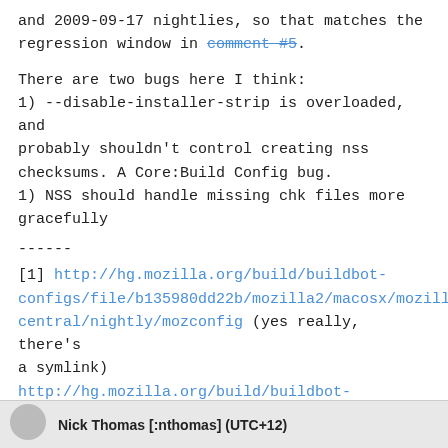and 2009-09-17 nightlies, so that matches the regression window in comment #5.
There are two bugs here I think:
1) --disable-installer-strip is overloaded, and probably shouldn't control creating nss checksums. A Core:Build Config bug.
1) NSS should handle missing chk files more gracefully
------
[1] http://hg.mozilla.org/build/buildbot-configs/file/b135980dd22b/mozilla2/macosx/mozilla-central/nightly/mozconfig (yes really, there's a symlink)
http://hg.mozilla.org/build/buildbot-configs/file/b135980dd22b/mozilla2/macosx/mozilla-1.9.2/release/mozconfig
Nick Thomas [:nthomas] (UTC+12)